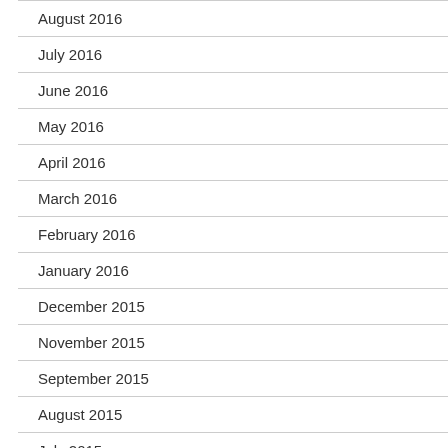August 2016
July 2016
June 2016
May 2016
April 2016
March 2016
February 2016
January 2016
December 2015
November 2015
September 2015
August 2015
July 2015
June 2015
May 2015